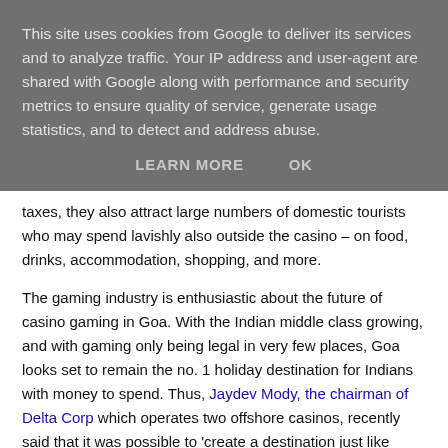This site uses cookies from Google to deliver its services and to analyze traffic. Your IP address and user-agent are shared with Google along with performance and security metrics to ensure quality of service, generate usage statistics, and to detect and address abuse.
LEARN MORE   OK
taxes, they also attract large numbers of domestic tourists who may spend lavishly also outside the casino – on food, drinks, accommodation, shopping, and more.
The gaming industry is enthusiastic about the future of casino gaming in Goa. With the Indian middle class growing, and with gaming only being legal in very few places, Goa looks set to remain the no. 1 holiday destination for Indians with money to spend. Thus, Jaydev Mody, the chairman of Delta Corp which operates two offshore casinos, recently said that it was possible to 'create a destination just like Singapore or Macau' in Goa. All one had to do was to create resorts and casinos and fill them up, he told the BBC.
[partial text continues below visible area]